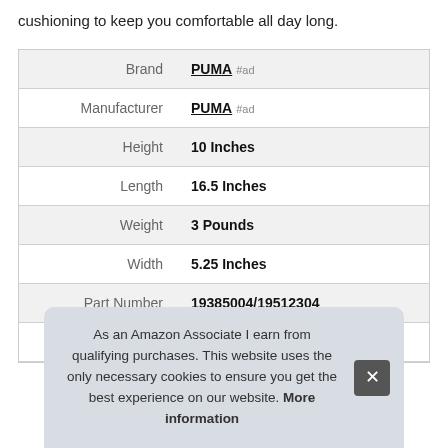cushioning to keep you comfortable all day long.
|  |  |
| --- | --- |
| Brand | PUMA #ad |
| Manufacturer | PUMA #ad |
| Height | 10 Inches |
| Length | 16.5 Inches |
| Weight | 3 Pounds |
| Width | 5.25 Inches |
| Part Number | 19385004/19512304 |
| Model | ... |
As an Amazon Associate I earn from qualifying purchases. This website uses the only necessary cookies to ensure you get the best experience on our website. More information